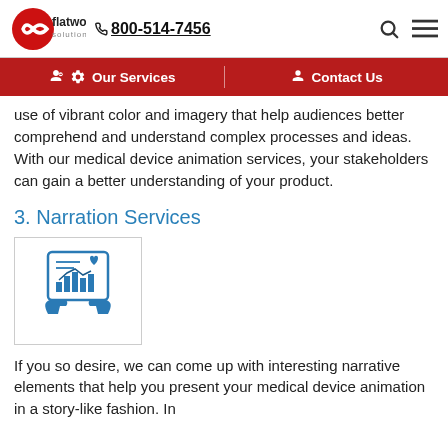flatworld solutions | 800-514-7456
Our Services | Contact Us
use of vibrant color and imagery that help audiences better comprehend and understand complex processes and ideas. With our medical device animation services, your stakeholders can gain a better understanding of your product.
3. Narration Services
[Figure (illustration): Icon of two hands holding a tablet/screen displaying a health data chart with bar graphs and a heart rate line]
If you so desire, we can come up with interesting narrative elements that help you present your medical device animation in a story-like fashion. In